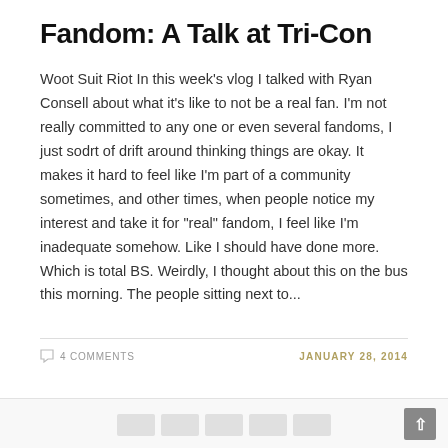Fandom: A Talk at Tri-Con
Woot Suit Riot In this week's vlog I talked with Ryan Consell about what it's like to not be a real fan. I'm not really committed to any one or even several fandoms, I just sodrt of drift around thinking things are okay. It makes it hard to feel like I'm part of a community sometimes, and other times, when people notice my interest and take it for "real" fandom, I feel like I'm inadequate somehow. Like I should have done more. Which is total BS. Weirdly, I thought about this on the bus this morning. The people sitting next to...
4 COMMENTS
JANUARY 28, 2014